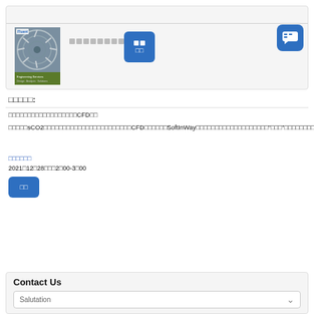□□
[Figure (illustration): Book cover showing turbine blades with green bar at bottom. Engineering/turbomachinery services brochure cover.]
□□□□□□□□
□□□□□:
□□□□□□□□□□□□□□□□□□CFD□□
□□□□□sCO2□□□□□□□□□□□□□□□□□□□□□□□CFD□□□□□□SoftInWay□□□□□□□□□□□□□□□□□□□"□□□"□□□□□□□□□□□□□□□□□□□□□□
□□□□□□
2021□12□28□□□2□00-3□00
□□
Contact Us
Salutation